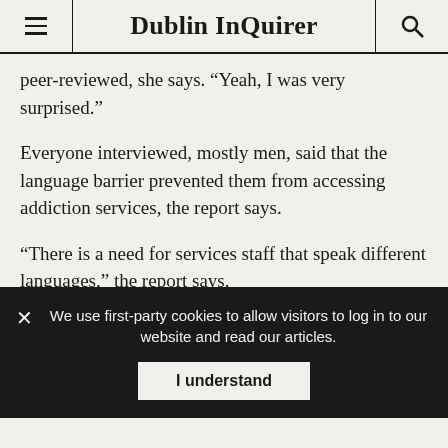Dublin InQuirer
peer-reviewed, she says. “Yeah, I was very surprised.”
Everyone interviewed, mostly men, said that the language barrier prevented them from accessing addiction services, the report says.
“There is a need for services staff that speak different languages,” the report says.
The report also found there was a lack of understanding as to what kind of Irish addiction services there are and how to access them.
Services such as health, mental health or homelessness
We use first-party cookies to allow visitors to log in to our website and read our articles.